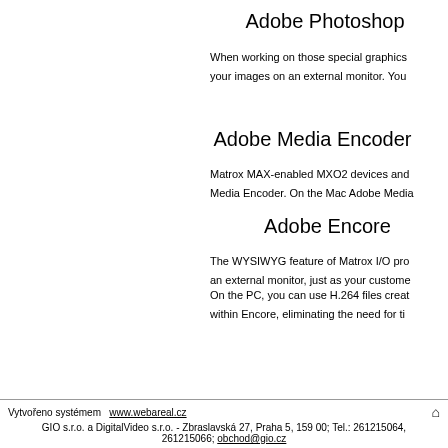Adobe Photoshop
When working on those special graphics your images on an external monitor. You
Adobe Media Encoder
Matrox MAX-enabled MXO2 devices and Media Encoder. On the Mac Adobe Media
Adobe Encore
The WYSIWYG feature of Matrox I/O pro an external monitor, just as your custome
On the PC, you can use H.264 files creat within Encore, eliminating the need for ti
Vytvořeno systémem www.webareal.cz
GIO s.r.o. a DigitalVideo s.r.o. - Zbraslavská 27, Praha 5, 159 00; Tel.: 261215064, 261215066; obchod@gio.cz